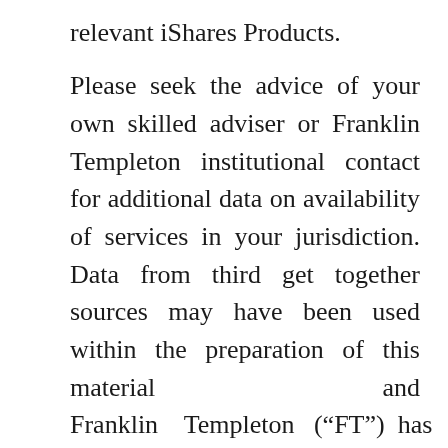relevant iShares Products. Please seek the advice of your own skilled adviser or Franklin Templeton institutional contact for additional data on availability of services in your juris¬diction. Data from third get together sources may have been used within the preparation of this material and Franklin Templeton (“FT”) has not independently verified, validated or audited such knowledge. FT accepts no legal responsibility in any way for any loss arising from use of this info and reliance upon the comments, opinions and analyses in the